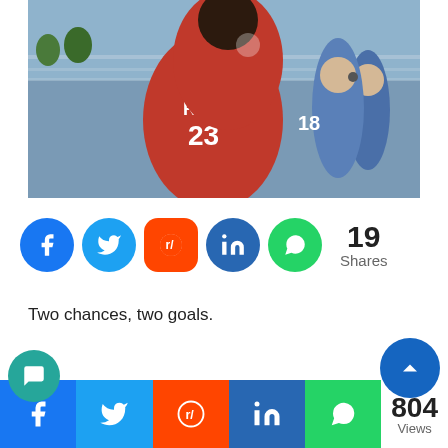[Figure (photo): Two soccer players in red Toronto FC jerseys celebrating, one player wearing number 23 (REY) being hugged from behind. A man with headset visible in background wearing blue jacket.]
[Figure (infographic): Social share buttons: Facebook, Twitter, Reddit, LinkedIn, WhatsApp with 19 Shares count]
Two chances, two goals.
ver a game encapsulated a player, then Jermain s debut for Toronto FC was surely it. His match-winning double
[Figure (infographic): Bottom share bar: Facebook, Twitter, Reddit, LinkedIn, WhatsApp with 804 Views count]